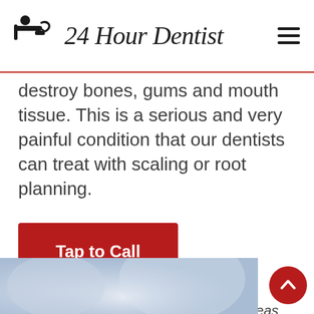24 Hour Dentist
destroy bones, gums and mouth tissue. This is a serious and very painful condition that our dentists can treat with scaling or root planning.
Tap to Call
* Services will not be available in all areas
[Figure (photo): Blurred close-up photo of dental/medical subject with soft blue-grey tones]